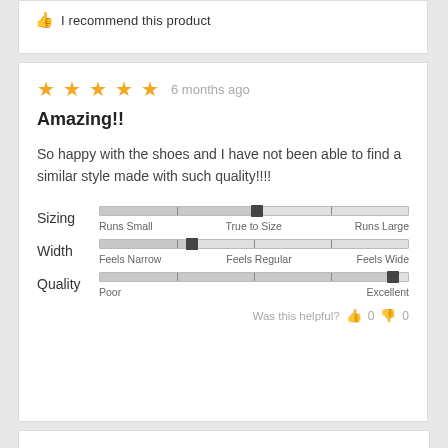I recommend this product
6 months ago
Amazing!!
So happy with the shoes and I have not been able to find a similar style made with such quality!!!!
[Figure (infographic): Three slider bars: Sizing (True to Size), Width (slightly narrow of center), Quality (Excellent)]
Was this helpful? 0 0